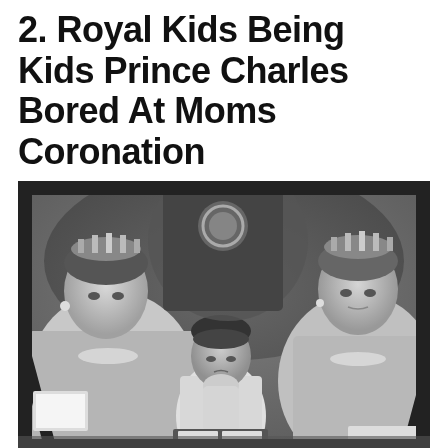2. Royal Kids Being Kids Prince Charles Bored At Moms Coronation
[Figure (photo): Black and white photograph showing young Prince Charles sitting between two royal women wearing crowns and jewelry at Queen Elizabeth II's coronation ceremony, with Charles resting his chin on his hand looking bored.]